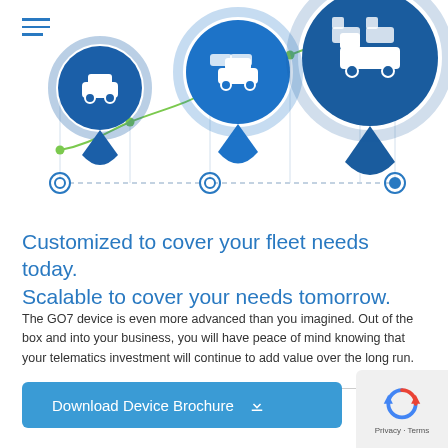[Figure (illustration): Fleet telematics scalability infographic showing three map pin markers with vehicle icons (single car, multiple cars, multiple trucks) connected by a dashed horizontal line and a rising green curve, representing fleet growth.]
Customized to cover your fleet needs today. Scalable to cover your needs tomorrow.
The GO7 device is even more advanced than you imagined. Out of the box and into your business, you will have peace of mind knowing that your telematics investment will continue to add value over the long run.
[Figure (logo): Google reCAPTCHA logo with privacy and terms text]